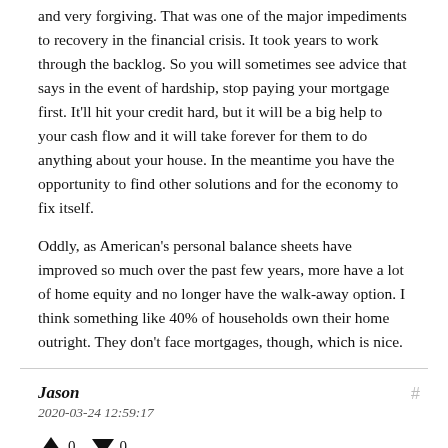and very forgiving. That was one of the major impediments to recovery in the financial crisis. It took years to work through the backlog. So you will sometimes see advice that says in the event of hardship, stop paying your mortgage first. It'll hit your credit hard, but it will be a big help to your cash flow and it will take forever for them to do anything about your house. In the meantime you have the opportunity to find other solutions and for the economy to fix itself.
Oddly, as American's personal balance sheets have improved so much over the past few years, more have a lot of home equity and no longer have the walk-away option. I think something like 40% of households own their home outright. They don't face mortgages, though, which is nice.
Jason
2020-03-24 12:59:17